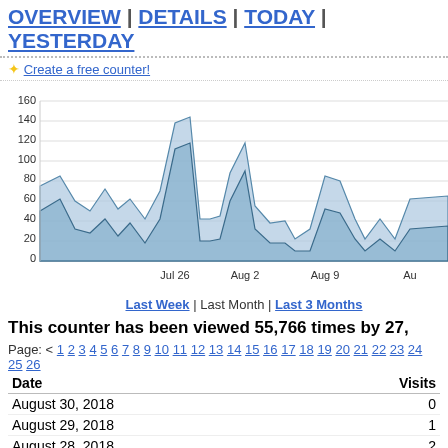OVERVIEW | DETAILS | TODAY | YESTERDAY
* Create a free counter!
[Figure (area-chart): Multi-series area chart showing daily visits and unique visitors over several weeks. Two overlapping shaded blue areas with line outlines. Y-axis from 0 to 160. X-axis shows Jul 26, Aug 2, Aug 9, Aug+. Peak around 145 near Jul 29, secondary peak ~120 near Aug 2.]
Last Week | Last Month | Last 3 Months
This counter has been viewed 55,766 times by 27,
Page: < 1 2 3 4 5 6 7 8 9 10 11 12 13 14 15 16 17 18 19 20 21 22 23 24 25 26
| Date | Visits |
| --- | --- |
| August 30, 2018 | 0 |
| August 29, 2018 | 1 |
| August 28, 2018 | 2 |